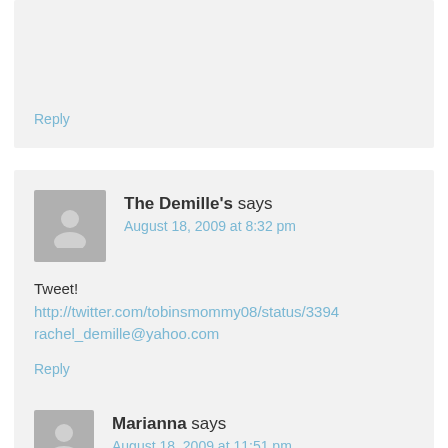Reply
The Demille's says
August 18, 2009 at 8:32 pm
Tweet!
http://twitter.com/tobinsmommy08/status/3394
rachel_demille@yahoo.com
Reply
Marianna says
August 18, 2009 at 11:51 pm